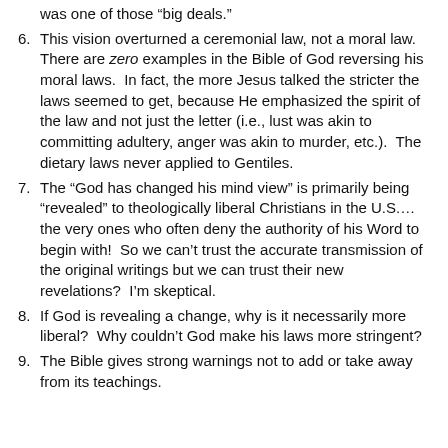was one of those “big deals.”
6. This vision overturned a ceremonial law, not a moral law. There are zero examples in the Bible of God reversing his moral laws. In fact, the more Jesus talked the stricter the laws seemed to get, because He emphasized the spirit of the law and not just the letter (i.e., lust was akin to committing adultery, anger was akin to murder, etc.). The dietary laws never applied to Gentiles.
7. The “God has changed his mind view” is primarily being “revealed” to theologically liberal Christians in the U.S.… the very ones who often deny the authority of his Word to begin with! So we can’t trust the accurate transmission of the original writings but we can trust their new revelations? I’m skeptical.
8. If God is revealing a change, why is it necessarily more liberal? Why couldn’t God make his laws more stringent?
9. The Bible gives strong warnings not to add or take away from its teachings.